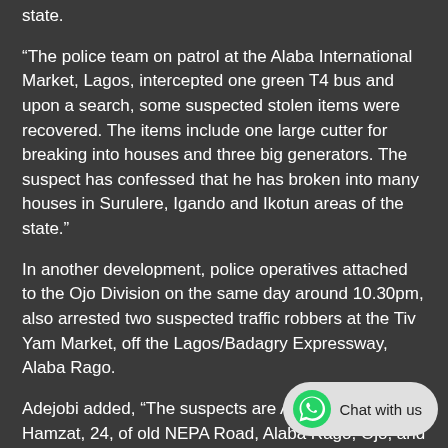state.
“The police team on patrol at the Alaba International Market, Lagos, intercepted one green T4 bus and upon a search, some suspected stolen items were recovered. The items include one large cutter for breaking into houses and three big generators. The suspect has confessed that he has broken into many houses in Surulere, Igando and Ikotun areas of the state.”
In another development, police operatives attached to the Ojo Division on the same day around 10.30pm, also arrested two suspected traffic robbers at the Tiv Yam Market, off the Lagos/Badagry Expressway, Alaba Rago.
Adejobi added, “The suspects are Abdulkareem Hamzat, 24, of old NEPA Road, Alaba Rago, Ojo; and Nura Adamu, 20, of Karabosowa, Ojo, Lagos. They were caught in possession of two dagger knives, a giant cutter, one cutlass, catapult and some weeds suspected to be Indian hemp.